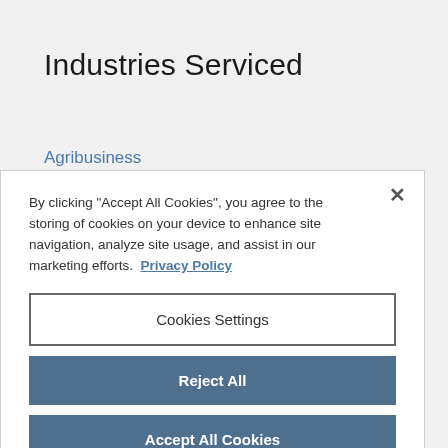Industries Serviced
Agribusiness
Agribusiness, Food & Beverage
By clicking "Accept All Cookies", you agree to the storing of cookies on your device to enhance site navigation, analyze site usage, and assist in our marketing efforts. Privacy Policy
Cookies Settings
Reject All
Accept All Cookies